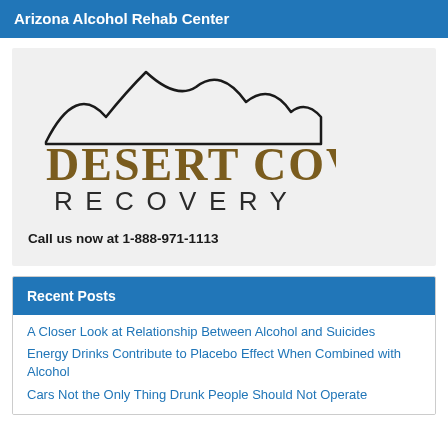Arizona Alcohol Rehab Center
[Figure (logo): Desert Cove Recovery logo with mountain silhouette above text in gold and black]
Call us now at 1-888-971-1113
Recent Posts
A Closer Look at Relationship Between Alcohol and Suicides
Energy Drinks Contribute to Placebo Effect When Combined with Alcohol
Cars Not the Only Thing Drunk People Should Not Operate